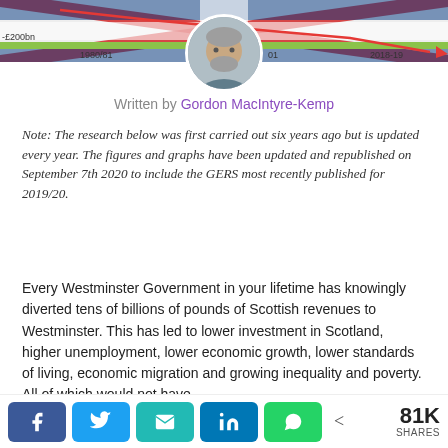[Figure (continuous-plot): Partial view of a bar/area chart showing Scottish revenue data with UK flag background, showing -£200bn label and years 1980/81 and 2018-19 on axes. Red downward arrow visible at right end.]
[Figure (photo): Circular profile photo of Gordon MacIntyre-Kemp, a man with grey beard and grey shirt.]
Written by Gordon MacIntyre-Kemp
Note: The research below was first carried out six years ago but is updated every year. The figures and graphs have been updated and republished on September 7th 2020 to include the GERS most recently published for 2019/20.
Every Westminster Government in your lifetime has knowingly diverted tens of billions of pounds of Scottish revenues to Westminster. This has led to lower investment in Scotland, higher unemployment, lower economic growth, lower standards of living, economic migration and growing inequality and poverty. All of which would not have
[Figure (infographic): Social share bar with Facebook (blue), Twitter (light blue), Email (teal), LinkedIn (dark blue), WhatsApp (green) buttons, and share count showing 81K SHARES]